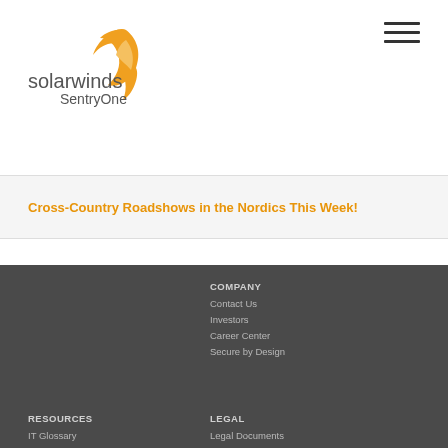[Figure (logo): SolarWinds SentryOne logo with orange flame/arrow icon]
Cross-Country Roadshows in the Nordics This Week!
COMPANY
Contact Us
Investors
Career Center
Secure by Design
RESOURCES
IT Glossary
Resource Center
Preference Center
For Customers
For Government
LEGAL
Legal Documents
Privacy
California Privacy Rights
Security Information
Documentation & Uninstall Information